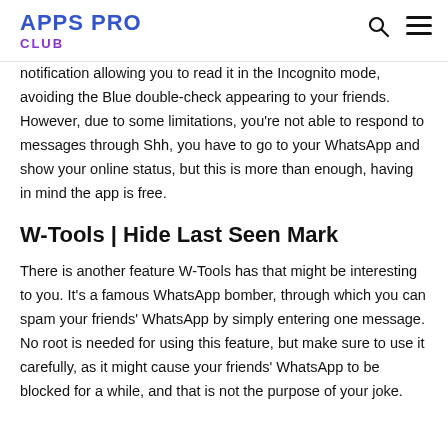APPS PRO CLUB
notification allowing you to read it in the Incognito mode, avoiding the Blue double-check appearing to your friends. However, due to some limitations, you're not able to respond to messages through Shh, you have to go to your WhatsApp and show your online status, but this is more than enough, having in mind the app is free.
W-Tools | Hide Last Seen Mark
There is another feature W-Tools has that might be interesting to you. It's a famous WhatsApp bomber, through which you can spam your friends' WhatsApp by simply entering one message. No root is needed for using this feature, but make sure to use it carefully, as it might cause your friends' WhatsApp to be blocked for a while, and that is not the purpose of your joke.